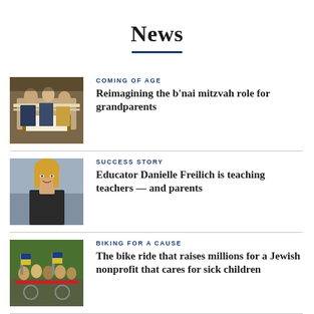News
COMING OF AGE — Reimagining the b'nai mitzvah role for grandparents
SUCCESS STORY — Educator Danielle Freilich is teaching teachers — and parents
BIKING FOR A CAUSE — The bike ride that raises millions for a Jewish nonprofit that cares for sick children
TRANSITION — Margot Pritzker elected to chair